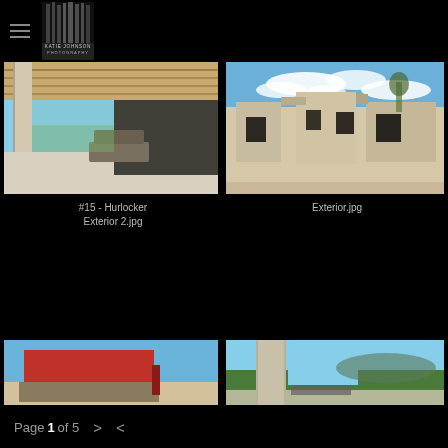Katie Johnson Photography — navigation header with hamburger menu and logo
[Figure (photo): Covered outdoor patio with wooden beam ceiling, concrete columns, and patio furniture overlooking a landscape]
#15 - Hurlocker Exterior 2.jpg
[Figure (photo): Exterior view of a modern stucco home with geometric forms against a blue sky with wispy clouds]
Exterior.jpg
[Figure (photo): Modern architecture with a bold red rectangular wall panel against a sandy desert landscape and blue sky]
[Figure (photo): Outdoor terrace of a modern home with mountain and forest views]
Page 1 of 5